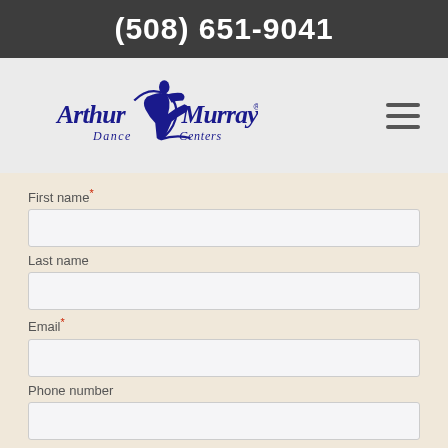(508) 651-9041
[Figure (logo): Arthur Murray Dance Centers logo with dancing couple silhouette]
First name*
Last name
Email*
Phone number